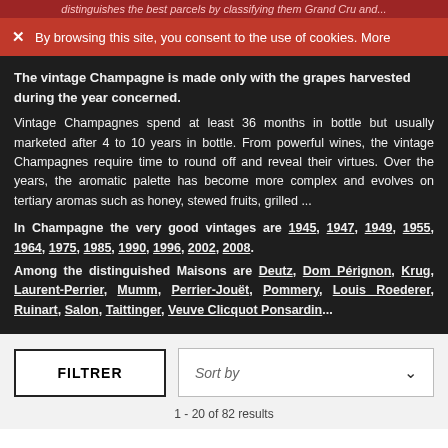distinguishes the best parcels by classifying them Grand Cru and...
By browsing this site, you consent to the use of cookies. More
The vintage Champagne is made only with the grapes harvested during the year concerned.
Vintage Champagnes spend at least 36 months in bottle but usually marketed after 4 to 10 years in bottle. From powerful wines, the vintage Champagnes require time to round off and reveal their virtues. Over the years, the aromatic palette has become more complex and evolves on tertiary aromas such as honey, stewed fruits, grilled ...
In Champagne the very good vintages are 1945, 1947, 1949, 1955, 1964, 1975, 1985, 1990, 1996, 2002, 2008. Among the distinguished Maisons are Deutz, Dom Pérignon, Krug, Laurent-Perrier, Mumm, Perrier-Jouët, Pommery, Louis Roederer, Ruinart, Salon, Taittinger, Veuve Clicquot Ponsardin...
FILTRER
Sort by
1 - 20 of 82 results